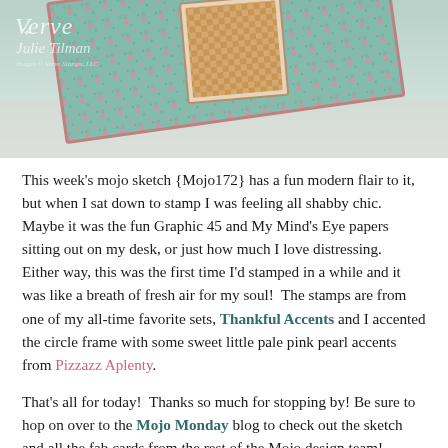[Figure (photo): Photo of handmade craft cards with floral and gingham patterned paper, angled on a light background. Verve / Julie Tilman watermark overlaid in white italic text top-left.]
This week's mojo sketch {Mojo172} has a fun modern flair to it, but when I sat down to stamp I was feeling all shabby chic.  Maybe it was the fun Graphic 45 and My Mind's Eye papers sitting out on my desk, or just how much I love distressing.  Either way, this was the first time I'd stamped in a while and it was like a breath of fresh air for my soul!  The stamps are from one of my all-time favorite sets, Thankful Accents and I accented the circle frame with some sweet little pale pink pearl accents from Pizzazz Aplenty.
That's all for today!  Thanks so much for stopping by! Be sure to hop on over to the Mojo Monday blog to check out the sketch and all the fab cards from the rest of the Mojo design team!